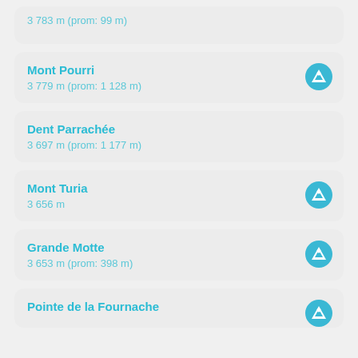3 783 m (prom: 99 m)
Mont Pourri
3 779 m (prom: 1 128 m)
Dent Parrachée
3 697 m (prom: 1 177 m)
Mont Turia
3 656 m
Grande Motte
3 653 m (prom: 398 m)
Pointe de la Fournache